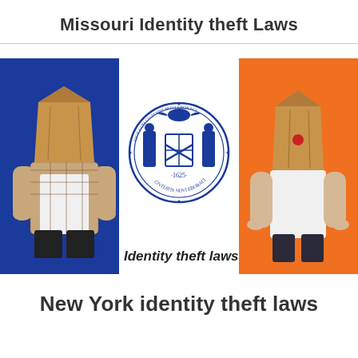Missouri Identity theft Laws
[Figure (illustration): A composite image showing the New York City flag (blue, white, and orange vertical stripes with the NYC seal in the center). On the blue panel stands a person with a paper bag over their head wearing a plaid shirt. On the orange panel stands another person with a paper bag (with a red dot/nose) over their head wearing a white tank top. Text overlay reads 'Identity theft laws'.]
New York identity theft laws